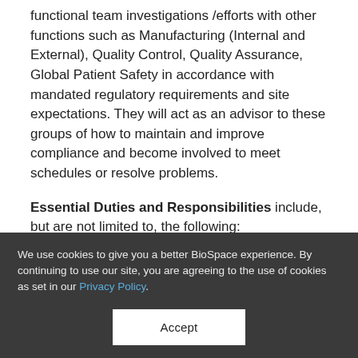functional team investigations /efforts with other functions such as Manufacturing (Internal and External), Quality Control, Quality Assurance, Global Patient Safety in accordance with mandated regulatory requirements and site expectations. They will act as an advisor to these groups of how to maintain and improve compliance and become involved to meet schedules or resolve problems.
Essential Duties and Responsibilities include, but are not limited to, the following:
Responsible for ensuring aspects of Quality
We use cookies to give you a better BioSpace experience. By continuing to use our site, you are agreeing to the use of cookies as set in our Privacy Policy.
Accept